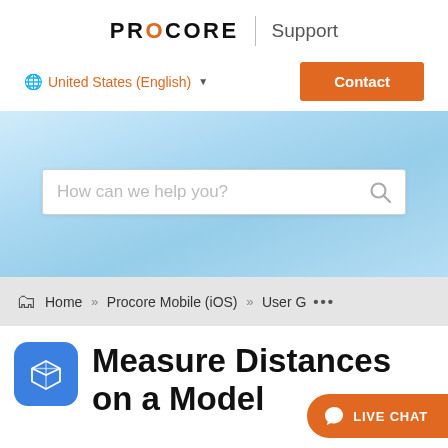PROCORE | Support
🌐 United States (English) ▼
Contact
[Figure (screenshot): Search bar with placeholder text 'How can we help you?' on a light blue gradient background]
Home » Procore Mobile (iOS) » User G ...
Measure Distances on a Model (iOS)
[Figure (logo): Blue rounded square app icon with white 3D box/model symbol]
LIVE CHAT